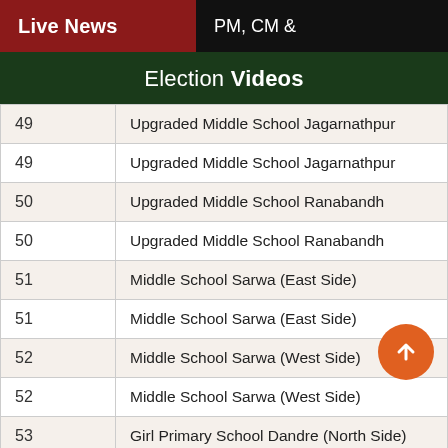Live News | PM, CM
Election Videos
| No. | School Name |
| --- | --- |
| 49 | Upgraded Middle School Jagarnathpur |
| 49 | Upgraded Middle School Jagarnathpur |
| 50 | Upgraded Middle School Ranabandh |
| 50 | Upgraded Middle School Ranabandh |
| 51 | Middle School Sarwa (East Side) |
| 51 | Middle School Sarwa (East Side) |
| 52 | Middle School Sarwa (West Side) |
| 52 | Middle School Sarwa (West Side) |
| 53 | Girl Primary School Dandre (North Side) |
| 53 | Girl Primary School Dandre (North Side) |
| 54 | High School Dandre |
| 54 | High School Dandre |